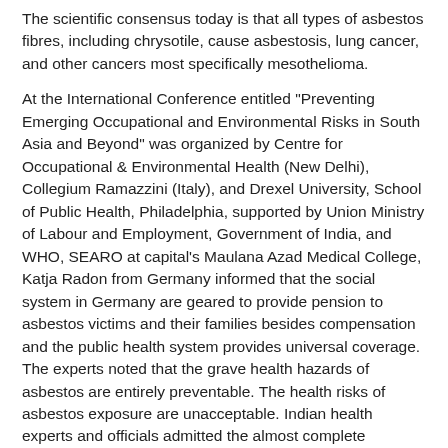The scientific consensus today is that all types of asbestos fibres, including chrysotile, cause asbestosis, lung cancer, and other cancers most specifically mesothelioma.
At the International Conference entitled "Preventing Emerging Occupational and Environmental Risks in South Asia and Beyond" was organized by Centre for Occupational & Environmental Health (New Delhi), Collegium Ramazzini (Italy), and Drexel University, School of Public Health, Philadelphia, supported by Union Ministry of Labour and Employment, Government of India, and WHO, SEARO at capital's Maulana Azad Medical College, Katja Radon from Germany informed that the social system in Germany are geared to provide pension to asbestos victims and their families besides compensation and the public health system provides universal coverage. The experts noted that the grave health hazards of asbestos are entirely preventable. The health risks of asbestos exposure are unacceptable. Indian health experts and officials admitted the almost complete absence of occupational and environmental health infrastructure and the cancer registry of the country of does not record occupational cancers.